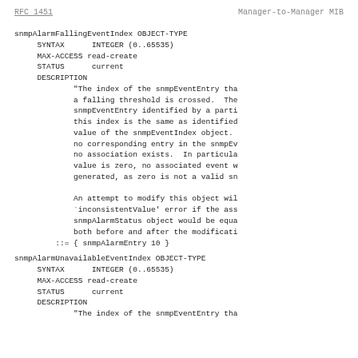RFC 1451    Manager-to-Manager MIB
snmpAlarmFallingEventIndex OBJECT-TYPE
    SYNTAX      INTEGER (0..65535)
    MAX-ACCESS read-create
    STATUS      current
    DESCRIPTION
            "The index of the snmpEventEntry tha
            a falling threshold is crossed.  The
            snmpEventEntry identified by a parti
            this index is the same as identified
            value of the snmpEventIndex object.
            no corresponding entry in the snmpEv
            no association exists.  In particula
            value is zero, no associated event w
            generated, as zero is not a valid sn

            An attempt to modify this object wil
            `inconsistentValue' error if the ass
            snmpAlarmStatus object would be equa
            both before and after the modificati
        ::= { snmpAlarmEntry 10 }
snmpAlarmUnavailableEventIndex OBJECT-TYPE
    SYNTAX      INTEGER (0..65535)
    MAX-ACCESS read-create
    STATUS      current
    DESCRIPTION
            "The index of the snmpEventEntry tha